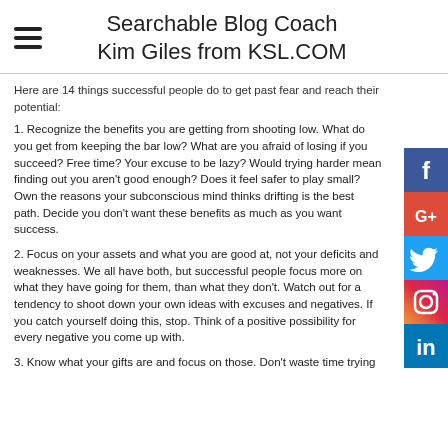Searchable Blog Coach Kim Giles from KSL.COM
Here are 14 things successful people do to get past fear and reach their potential:
1. Recognize the benefits you are getting from shooting low. What do you get from keeping the bar low? What are you afraid of losing if you succeed? Free time? Your excuse to be lazy? Would trying harder mean finding out you aren't good enough? Does it feel safer to play small? Own the reasons your subconscious mind thinks drifting is the best path. Decide you don't want these benefits as much as you want success.
2. Focus on your assets and what you are good at, not your deficits and weaknesses. We all have both, but successful people focus more on what they have going for them, than what they don't. Watch out for a tendency to shoot down your own ideas with excuses and negatives. If you catch yourself doing this, stop. Think of a positive possibility for every negative you come up with.
3. Know what your gifts are and focus on those. Don't waste time trying